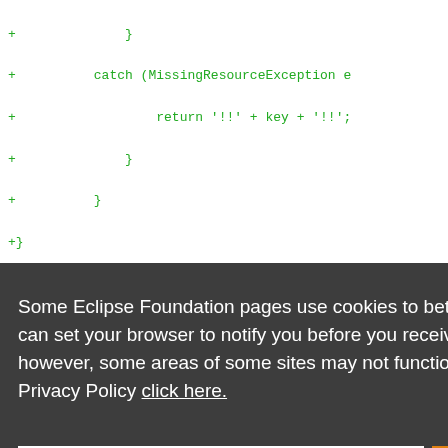[Figure (screenshot): Code diff view showing green-colored lines with + prefix, representing added lines in a code editor or diff tool. Lines show closing braces, catch block, return statement.]
Some Eclipse Foundation pages use cookies to better serve you when you return to the site. You can set your browser to notify you before you receive a cookie or turn off cookies. If you do so, however, some areas of some sites may not function properly. To read Eclipse Foundation Privacy Policy click here.
Decline
Allow cookies